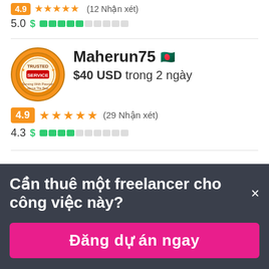4.9 ★★★★★ (12 Nhận xét)
5.0 $ ████░░░░░░
[Figure (illustration): Circular badge logo with 'TRUSTED SERVICE' text and decorative elements on an orange/gold background]
Maherun75 🇧🇩
$40 USD trong 2 ngày
4.9 ★★★★★ (29 Nhận xét)
4.3 $ ████░░░░░░
Cần thuê một freelancer cho công việc này? ×
Đăng dự án ngay